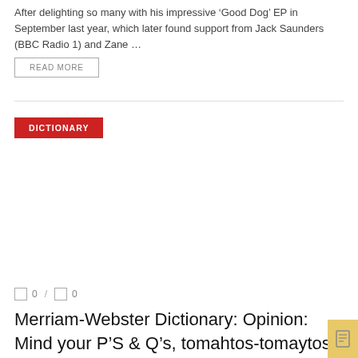After delighting so many with his impressive ‘Good Dog’ EP in September last year, which later found support from Jack Saunders (BBC Radio 1) and Zane …
READ MORE
DICTIONARY
0 / 0
Merriam-Webster Dictionary: Opinion: Mind your P’S & Q’s, tomahtos-tomaytos